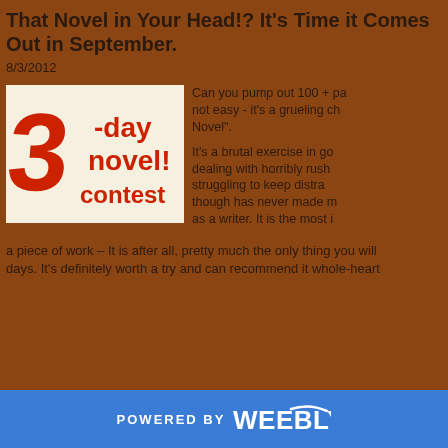That Novel in Your Head!? It's Time it Comes Out in September.
8/3/2012
[Figure (logo): 3-Day Novel Contest logo with large red '3' and red text reading '-day novel! contest' on white background]
Can you pump out 100 + pa... not easy - it's a grueling ch... Novel".
It's a brutal exercise in go... dealing with horribly rush... struggling to keep distra... though has never made m... as a writer. It is the most i... a piece of work – It is after all, pretty much the only thing you will... days.  It's definitely worth a try and can recommend it whole-heart...
POWERED BY weebly